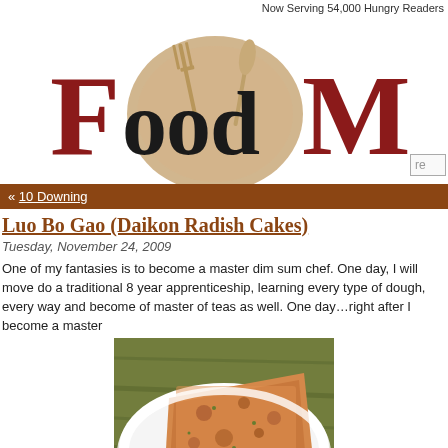Now Serving 54,000 Hungry Readers
[Figure (logo): FoodMa... logo with plate, fork, and knife graphic, red and dark serif letters]
re
« 10 Downing
Luo Bo Gao (Daikon Radish Cakes)
Tuesday, November 24, 2009
One of my fantasies is to become a master dim sum chef. One day, I will move do a traditional 8 year apprenticeship, learning every type of dough, every way and become of master of teas as well. One day…right after I become a master
[Figure (photo): A plate with golden-brown fried daikon radish cake (luo bo gao) sliced into a wedge, served on a white plate with a wooden background]